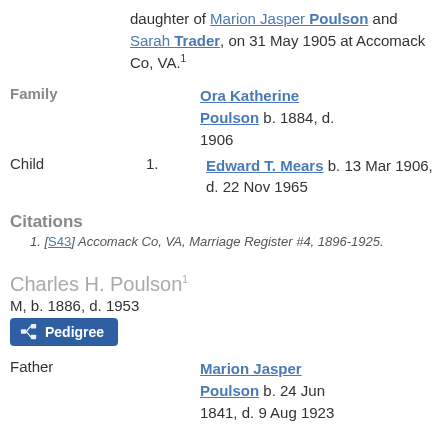daughter of Marion Jasper Poulson and Sarah Trader, on 31 May 1905 at Accomack Co, VA.1
Family: Ora Katherine Poulson b. 1884, d. 1906
Child 1. Edward T. Mears b. 13 Mar 1906, d. 22 Nov 1965
Citations
1. [S43] Accomack Co, VA, Marriage Register #4, 1896-1925.
Charles H. Poulson1
M, b. 1886, d. 1953
Pedigree
Father: Marion Jasper Poulson b. 24 Jun 1841, d. 9 Aug 1923